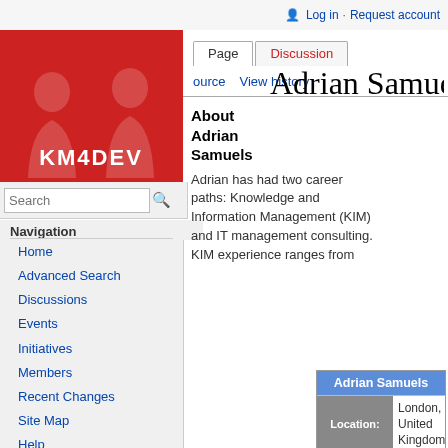Log in  Request account
[Figure (logo): KM4DEV logo — red background with white silhouettes of people and white bold text KM4DEV]
Page  Discussion  [source]  View history
Adrian Samuels
About Adrian Samuels
Adrian has had two career paths: Knowledge and Information Management (KIM) and IT management consulting. KIM experience ranges from
| Adrian Samuels |  |  |
| --- | --- | --- |
| Location: |  | London, United Kingdom |
| Organization: |  | Christian Aid |
| Position: |  | Data Retention Officer |
See on KM4Dev.org
Search profiles using the Advanced Search!
Navigation
Home
Advanced Search
Discussions
Events
Initiatives
Members
Recent Changes
Site Map
Help
Donate
Sub-Communities